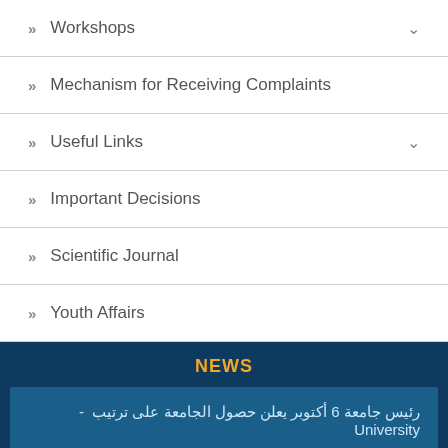» Workshops
» Mechanism for Receiving Complaints
» Useful Links
» Important Decisions
» Scientific Journal
» Youth Affairs
NEWS
رئيس جامعة 6 أكتوبر يعلن حصول الجامعة على ترتيب - University